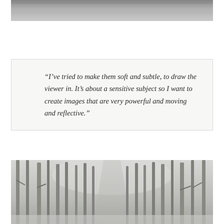[Figure (photo): Grey sky / overcast horizontal band photograph at top of page]
“I’ve tried to make them soft and subtle, to draw the viewer in. It’s about a sensitive subject so I want to create images that are very powerful and moving and reflective.”
[Figure (photo): Misty winter forest with tall bare tree trunks receding into foggy distance along a path]